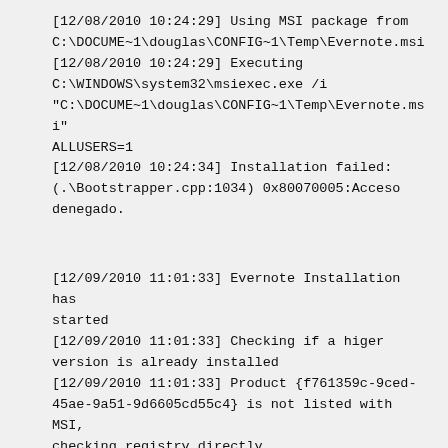[12/08/2010 10:24:29] Using MSI package from C:\DOCUME~1\douglas\CONFIG~1\Temp\Evernote.msi
[12/08/2010 10:24:29] Executing C:\WINDOWS\system32\msiexec.exe /i "C:\DOCUME~1\douglas\CONFIG~1\Temp\Evernote.msi" ALLUSERS=1
[12/08/2010 10:24:34] Installation failed: (.\Bootstrapper.cpp:1034) 0x80070005:Acceso denegado.
[12/09/2010 11:01:33] Evernote Installation has started
[12/09/2010 11:01:33] Checking if a higer version is already installed
[12/09/2010 11:01:33] Product {f761359c-9ced-45ae-9a51-9d6605cd55c4} is not listed with MSI, checking registry directly.
[12/09/2010 11:01:33] Parsing command line: "C:\Documents and Settings\douglas\Escritorio\Evernote_4.1.0.3245